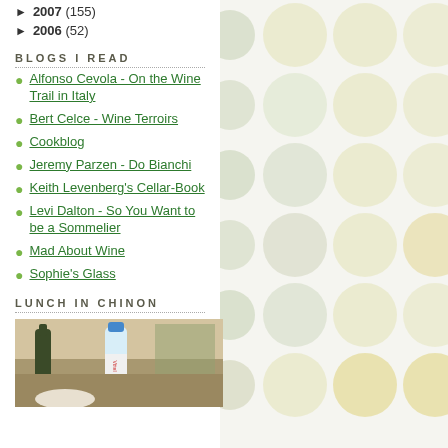► 2007 (155)
► 2006 (52)
BLOGS I READ
Alfonso Cevola - On the Wine Trail in Italy
Bert Celce - Wine Terroirs
Cookblog
Jeremy Parzen - Do Bianchi
Keith Levenberg's Cellar-Book
Levi Dalton - So You Want to be a Sommelier
Mad About Wine
Sophie's Glass
LUNCH IN CHINON
[Figure (photo): Photo showing a water bottle (Vittel) and wine bottles outdoors, likely at a lunch setting in Chinon]